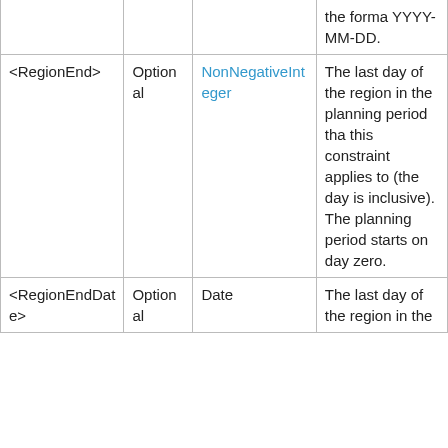| Element | Required/Optional | Type | Description |
| --- | --- | --- | --- |
|  |  |  | the format YYYY-MM-DD. |
| <RegionEnd> | Optional | NonNegativeInteger | The last day of the region in the planning period that this constraint applies to (the day is inclusive). The planning period starts on day zero. |
| <RegionEndDate> | Optional | Date | The last day of the region in the |